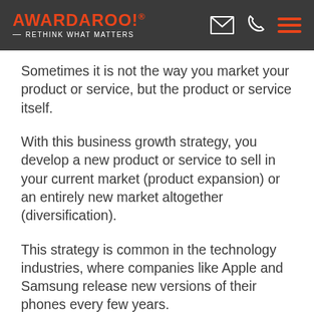AWARDAROO! ® RETHINK WHAT MATTERS
Sometimes it is not the way you market your product or service, but the product or service itself.
With this business growth strategy, you develop a new product or service to sell in your current market (product expansion) or an entirely new market altogether (diversification).
This strategy is common in the technology industries, where companies like Apple and Samsung release new versions of their phones every few years.
The product doesn't have to be something